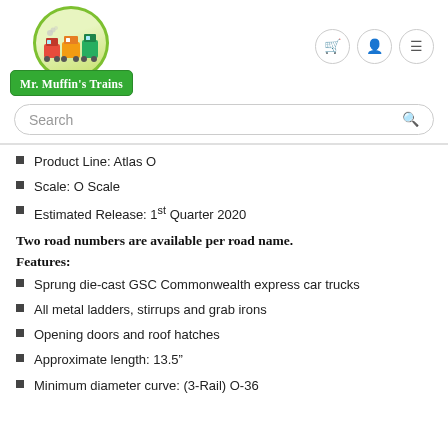[Figure (logo): Mr. Muffin's Trains logo with a colorful train inside a green circle and a green badge with white text]
Product Line: Atlas O
Scale: O Scale
Estimated Release: 1st Quarter 2020
Two road numbers are available per road name.
Features:
Sprung die-cast GSC Commonwealth express car trucks
All metal ladders, stirrups and grab irons
Opening doors and roof hatches
Approximate length: 13.5"
Minimum diameter curve: (3-Rail) O-36